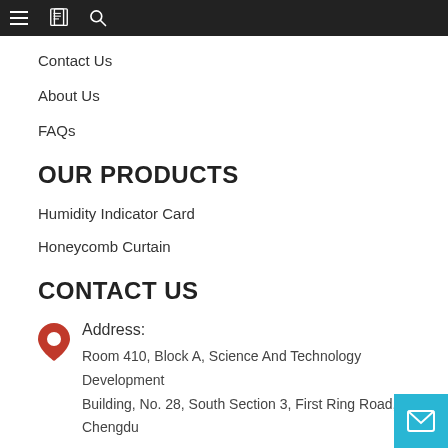≡ [book icon] 🔍
Contact Us
About Us
FAQs
OUR PRODUCTS
Humidity Indicator Card
Honeycomb Curtain
CONTACT US
Address:
Room 410, Block A, Science And Technology Development Building, No. 28, South Section 3, First Ring Road, Chengdu